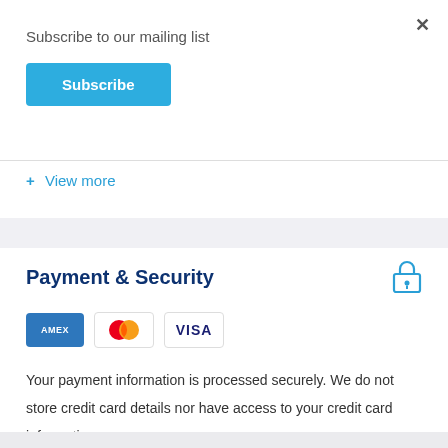Subscribe to our mailing list
Subscribe
+ View more
Payment & Security
[Figure (logo): Payment card logos: AMEX, Mastercard, VISA]
Your payment information is processed securely. We do not store credit card details nor have access to your credit card information.